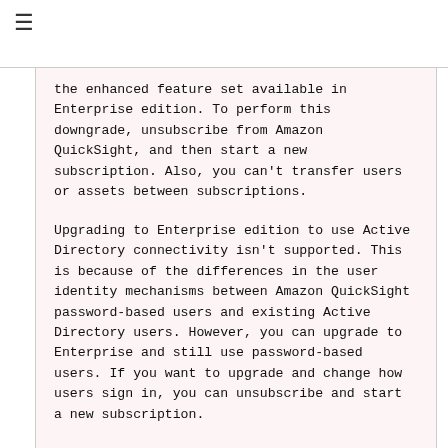≡
the enhanced feature set available in Enterprise edition. To perform this downgrade, unsubscribe from Amazon QuickSight, and then start a new subscription. Also, you can't transfer users or assets between subscriptions.
Upgrading to Enterprise edition to use Active Directory connectivity isn't supported. This is because of the differences in the user identity mechanisms between Amazon QuickSight password-based users and existing Active Directory users. However, you can upgrade to Enterprise and still use password-based users. If you want to upgrade and change how users sign in, you can unsubscribe and start a new subscription.